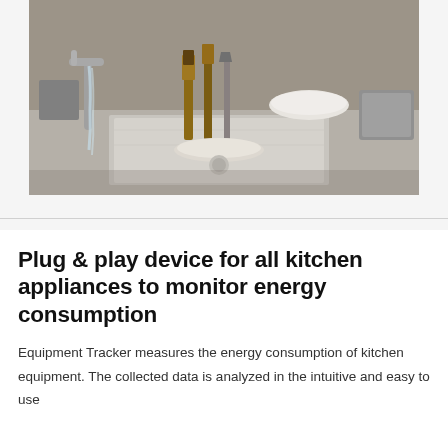[Figure (photo): A kitchen sink with stainless steel surface, a faucet on the left with running water, wooden-handled utensils or brushes standing upright, bowls, plates, and kitchen tools visible in the background. The scene is a busy commercial or home kitchen workspace.]
Plug & play device for all kitchen appliances to monitor energy consumption
Equipment Tracker measures the energy consumption of kitchen equipment. The collected data is analyzed in the intuitive and easy to use